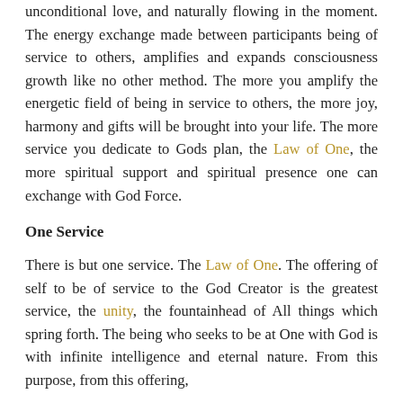unconditional love, and naturally flowing in the moment. The energy exchange made between participants being of service to others, amplifies and expands consciousness growth like no other method. The more you amplify the energetic field of being in service to others, the more joy, harmony and gifts will be brought into your life. The more service you dedicate to Gods plan, the Law of One, the more spiritual support and spiritual presence one can exchange with God Force.
One Service
There is but one service. The Law of One. The offering of self to be of service to the God Creator is the greatest service, the unity, the fountainhead of All things which spring forth. The being who seeks to be at One with God is with infinite intelligence and eternal nature. From this purpose, from this offering,